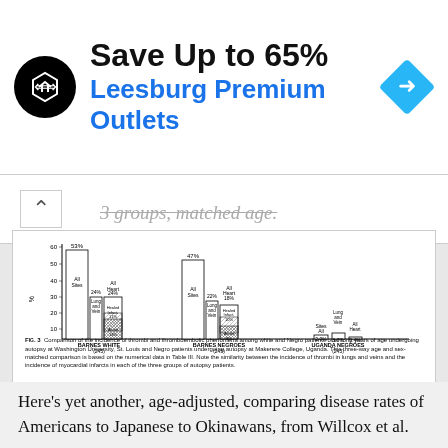[Figure (screenshot): Advertisement banner: Save Up to 65% Leesburg Premium Outlets]
3 groups, matched age.
[Figure (bar-chart): Fig. 3 Comparison of the incidence of thrombi and thromboembolic phenomena among white and Negro patients over forty years of age undergoing autopsy at Washington University, St. Louis and Negro patients undergoing autopsy at Makerere College, Uganda.]
Fig. 3  Comparison of the incidence of thrombi and thromboembolic phenomena among white and Negro patients over forty years of age undergoing autopsy at Washington University, St. Louis and Negro patients undergoing autopsy at Makerere College, Uganda. This three-way age and sex-matched comparison is based on the numerical data in Table III. Note the similarity between the incidence of thrombi in lungs and veins and the incidence of myocardial infarcts in each of the three groups of autopsy patients.
Here’s yet another, age-adjusted, comparing disease rates of Americans to Japanese to Okinawans, from Willcox et al.